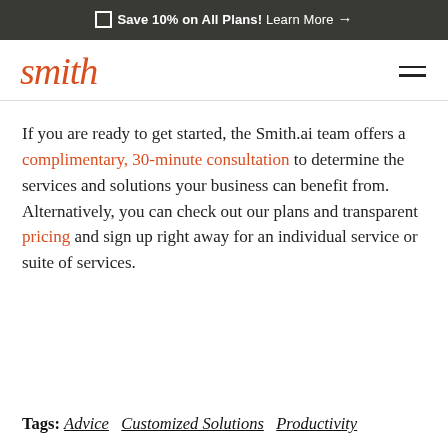🏷 Save 10% on All Plans! Learn More →
[Figure (logo): Smith.ai logo in italic orange script font with hamburger menu icon on the right]
If you are ready to get started, the Smith.ai team offers a complimentary, 30-minute consultation to determine the services and solutions your business can benefit from. Alternatively, you can check out our plans and transparent pricing and sign up right away for an individual service or suite of services.
Tags: Advice  Customized Solutions  Productivity